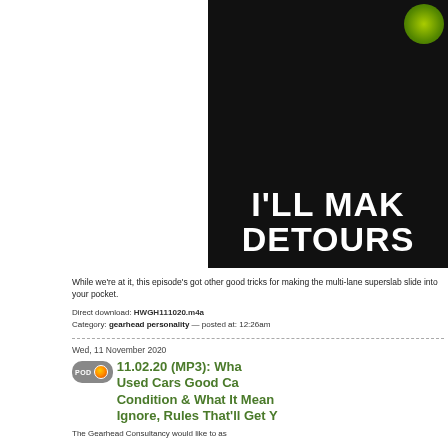[Figure (photo): Dark background image with white bold text reading 'I'LL MAK' and 'DETOURS' in Impact/meme style font, with a green circular element visible at top right]
While we're at it, this episode's got other good tricks for making the multi-lane superslab slide into your pocket.
Direct download: HWGH111020.m4a
Category: gearhead personality — posted at: 12:26am
Wed, 11 November 2020
11.02.20 (MP3): Wha Used Cars Good Ca Condition & What It Mean Ignore, Rules That'll Get Y
The Gearhead Consultancy would like to as